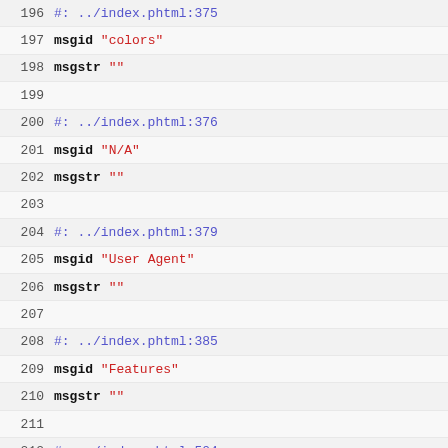196 #: ../index.phtml:375
197 msgid "colors"
198 msgstr ""
199
200 #: ../index.phtml:376
201 msgid "N/A"
202 msgstr ""
203
204 #: ../index.phtml:379
205 msgid "User Agent"
206 msgstr ""
207
208 #: ../index.phtml:385
209 msgid "Features"
210 msgstr ""
211
212 #: ../index.phtml:504
213 msgid "Cookies"
214 msgstr ""
215
216 #: ../index.phtml:506